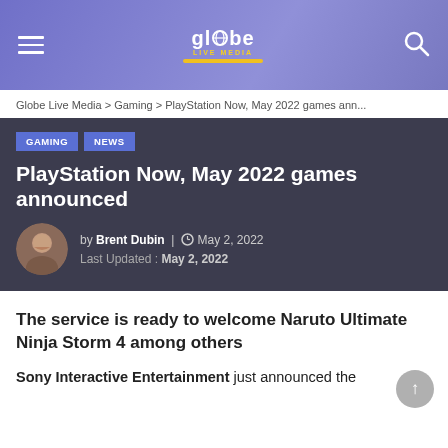gl●be | hamburger menu | search icon
Globe Live Media > Gaming > PlayStation Now, May 2022 games ann...
GAMING  NEWS
PlayStation Now, May 2022 games announced
by Brent Dubin | May 2, 2022
Last Updated: May 2, 2022
The service is ready to welcome Naruto Ultimate Ninja Storm 4 among others
Sony Interactive Entertainment just announced the